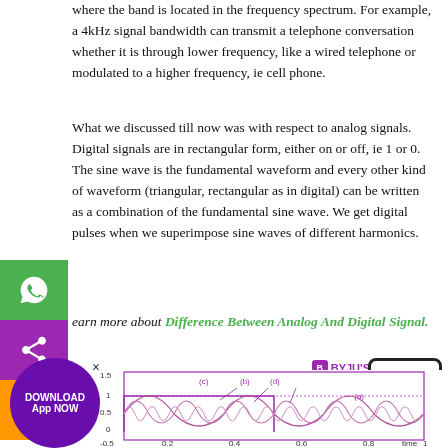where the band is located in the frequency spectrum. For example, a 4kHz signal bandwidth can transmit a telephone conversation whether it is through lower frequency, like a wired telephone or modulated to a higher frequency, ie cell phone.
What we discussed till now was with respect to analog signals. Digital signals are in rectangular form, either on or off, ie 1 or 0. The sine wave is the fundamental waveform and every other kind of waveform (triangular, rectangular as in digital) can be written as a combination of the fundamental sine wave. We get digital pulses when we superimpose sine waves of different harmonics.
Learn more about Difference Between Analog And Digital Signal.
[Figure (continuous-plot): A waveform/signal diagram showing voltage vs time. The y-axis shows voltage values from -0.5 to 1.5. The x-axis shows time from 0 to 1. Multiple sine wave curves labeled (a), (b), (c), (d) are shown in purple/violet. Curve (a) appears to be a rectangular/square wave at amplitude 1. Curves (b), (c), (d) are smaller sinusoidal harmonics overlaid.]